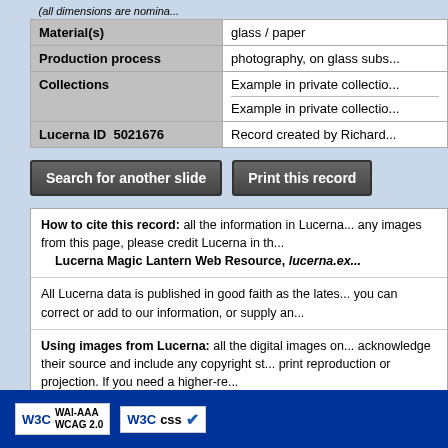| Field | Value |
| --- | --- |
| Material(s) | glass / paper |
| Production process | photography, on glass subs... |
| Collections | Example in private collectio...
Example in private collectio... |
| Lucerna ID  5021676 | Record created by Richard... |
Search for another slide
Print this record
How to cite this record: all the information in Lucerna... any images from this page, please credit Lucerna in th... Lucerna Magic Lantern Web Resource, lucerna.ex...
All Lucerna data is published in good faith as the lates... you can correct or add to our information, or supply an...
Using images from Lucerna: all the digital images on... acknowledge their source and include any copyright st... print reproduction or projection. If you need a higher-re...
[Figure (logo): W3C WAI-AAA WCAG 2.0 badge]
[Figure (logo): W3C CSS validation badge with checkmark]